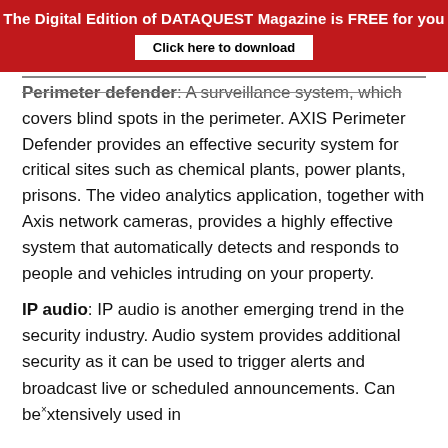The Digital Edition of DATAQUEST Magazine is FREE for you
Click here to download
Perimeter defender: A surveillance system, which covers blind spots in the perimeter. AXIS Perimeter Defender provides an effective security system for critical sites such as chemical plants, power plants, prisons. The video analytics application, together with Axis network cameras, provides a highly effective system that automatically detects and responds to people and vehicles intruding on your property.
IP audio: IP audio is another emerging trend in the security industry. Audio system provides additional security as it can be used to trigger alerts and broadcast live or scheduled announcements. Can be extensively used in